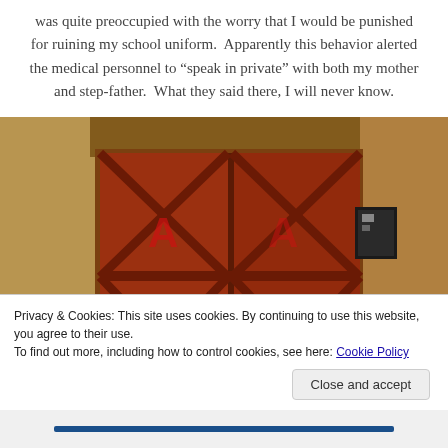was quite preoccupied with the worry that I would be punished for ruining my school uniform.  Apparently this behavior alerted the medical personnel to “speak in private” with both my mother and step-father.  What they said there, I will never know.
[Figure (photo): Photograph of large weathered red wooden double doors set in a stone and brick wall, with diagonal cross-bracing planks and graffiti markings. A dark metal electrical box is mounted on the right side of the doorframe.]
Privacy & Cookies: This site uses cookies. By continuing to use this website, you agree to their use.
To find out more, including how to control cookies, see here: Cookie Policy
Close and accept